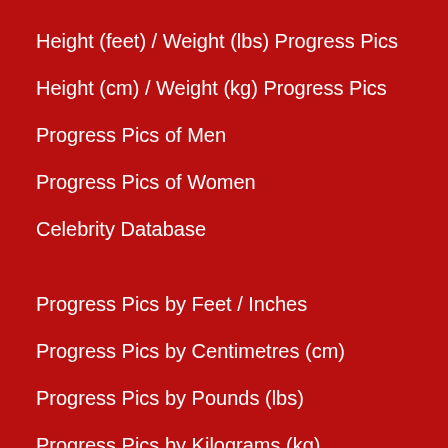Height (feet) / Weight (lbs) Progress Pics
Height (cm) / Weight (kg) Progress Pics
Progress Pics of Men
Progress Pics of Women
Celebrity Database
Progress Pics by Feet / Inches
Progress Pics by Centimetres (cm)
Progress Pics by Pounds (lbs)
Progress Pics by Kilograms (kg)